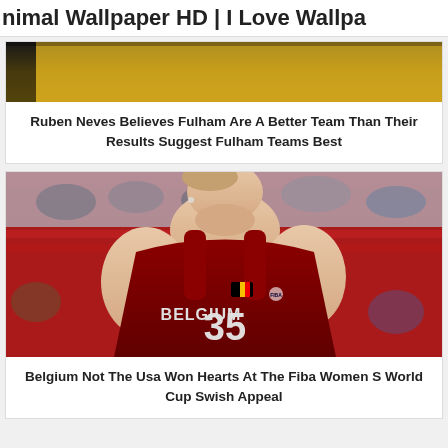nimal Wallpaper HD | I Love Wallpa…
[Figure (photo): Partial photo of a football player in yellow/gold jersey, cropped at top]
Ruben Neves Believes Fulham Are A Better Team Than Their Results Suggest Fulham Teams Best
[Figure (photo): Photo of a female basketball player wearing Belgium jersey number 35 in a red uniform with Belgium flag patch, in an indoor arena with red seats and blurred crowd]
Belgium Not The Usa Won Hearts At The Fiba Women S World Cup Swish Appeal